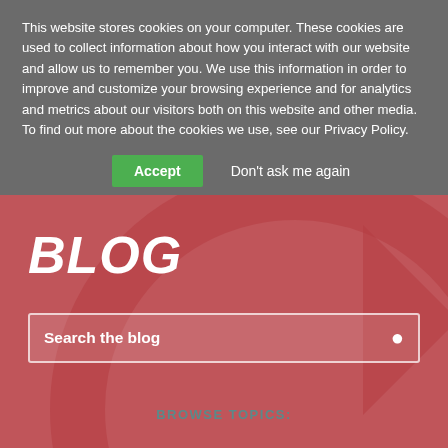This website stores cookies on your computer. These cookies are used to collect information about how you interact with our website and allow us to remember you. We use this information in order to improve and customize your browsing experience and for analytics and metrics about our visitors both on this website and other media. To find out more about the cookies we use, see our Privacy Policy.
Accept
Don't ask me again
BLOG
Search the blog
BLOG | NEWS | CAREER INSIGHTS | CASE STUDIES
BROWSE TOPICS: